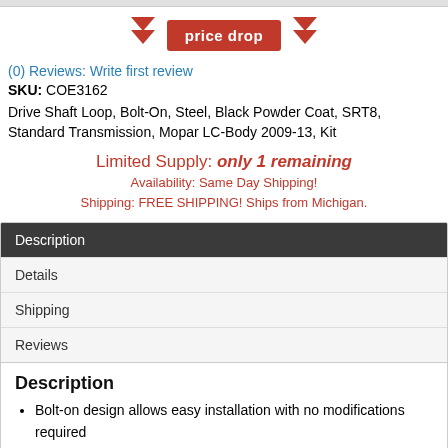[Figure (other): Price drop banner with two red double-chevron arrow icons flanking a red 'price drop' button]
(0) Reviews: Write first review
SKU: COE3162
Drive Shaft Loop, Bolt-On, Steel, Black Powder Coat, SRT8, Standard Transmission, Mopar LC-Body 2009-13, Kit
Limited Supply: only 1 remaining
Availability: Same Day Shipping!
Shipping: FREE SHIPPING! Ships from Michigan.
| Description |
| Details |
| Shipping |
| Reviews |
Description
Bolt-on design allows easy installation with no modifications required
Removable loop for easy driveshaft removal